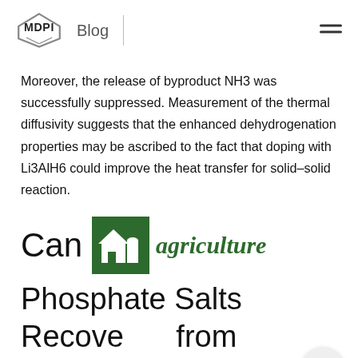MDPI Blog
Moreover, the release of byproduct NH3 was successfully suppressed. Measurement of the thermal diffusivity suggests that the enhanced dehydrogenation properties may be ascribed to the fact that doping with Li3AlH6 could improve the heat transfer for solid–solid reaction.
Can agriculture Phosphate Salts Recovered from Manure Replace
[Figure (logo): Agriculture journal logo: green square with barn and silo icon, followed by italic green text 'agriculture']